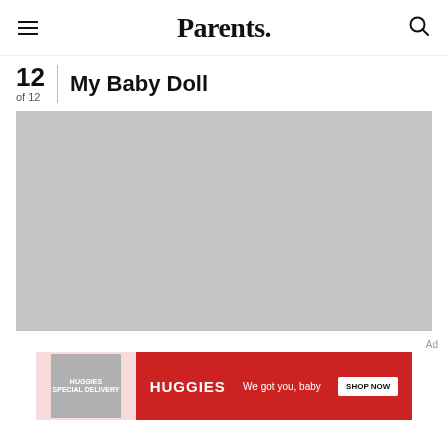Parents.
12 My Baby Doll
of 12
[Figure (photo): Large gray placeholder image for baby doll photo]
Ad
[Figure (infographic): Huggies advertisement banner: left side pink background with Huggies special delivery box image, right side red background with HUGGIES logo, tagline 'We got you, baby' and SHOP NOW button]